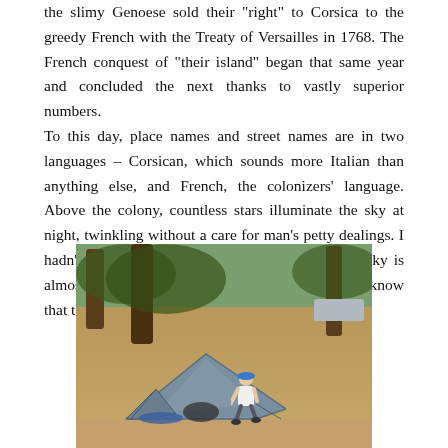the slimy Genoese sold their "right" to Corsica to the greedy French with the Treaty of Versailles in 1768. The French conquest of "their island" began that same year and concluded the next thanks to vastly superior numbers. To this day, place names and street names are in two languages – Corsican, which sounds more Italian than anything else, and French, the colonizers' language. Above the colony, countless stars illuminate the sky at night, twinkling without a care for man's petty dealings. I hadn't seen as many stars since I was a kid. The sky is almost white, there are so many. It's reassuring to know that they're still there.
[Figure (photo): A person crouching near a grey camping tent set up under trees on dry ground, likely a campsite in Corsica.]